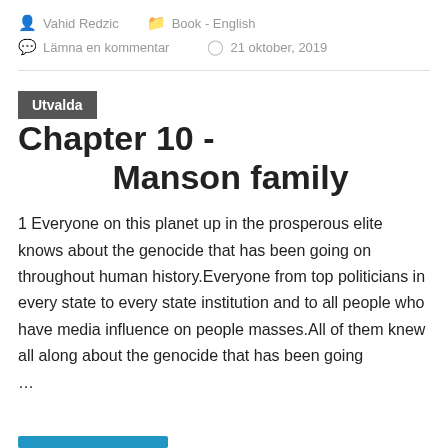Vahid Redzic   Book - English
Lämna en kommentar   21 oktober, 2019
Utvalda Chapter 10 - Manson family
1 Everyone on this planet up in the prosperous elite knows about the genocide that has been going on throughout human history.Everyone from top politicians in every state to every state institution and to all people who have media influence on people masses.All of them knew all along about the genocide that has been going …